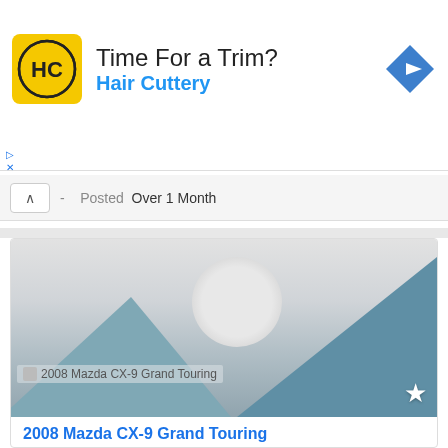[Figure (illustration): Hair Cuttery advertisement banner with yellow logo showing HC initials, headline 'Time For a Trim?', brand name 'Hair Cuttery' in blue, and a blue navigation diamond icon on the right]
- Posted Over 1 Month
[Figure (photo): Placeholder image for 2008 Mazda CX-9 Grand Touring showing a grey gradient background with mountain shapes and a circle, typical broken/missing image placeholder]
2008 Mazda CX-9 Grand Touring
$13,995   Stamford, Connecticut
Year -   Category-